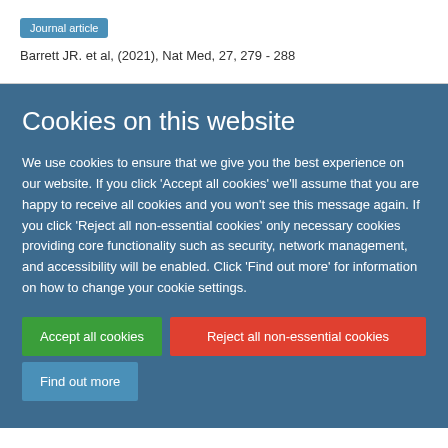Journal article
Barrett JR. et al, (2021), Nat Med, 27, 279 - 288
Cookies on this website
We use cookies to ensure that we give you the best experience on our website. If you click 'Accept all cookies' we'll assume that you are happy to receive all cookies and you won't see this message again. If you click 'Reject all non-essential cookies' only necessary cookies providing core functionality such as security, network management, and accessibility will be enabled. Click 'Find out more' for information on how to change your cookie settings.
Accept all cookies
Reject all non-essential cookies
Find out more